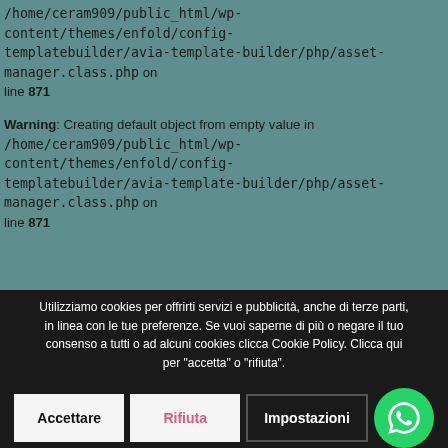/home/ceram909/public_html/wp-content/themes/enfold/config-templatebuilder/avia-template-builder/php/asset-manager.class.php on line 871
Warning: Creating default object from empty value in /home/ceram909/public_html/wp-content/themes/enfold/config-templatebuilder/avia-template-builder/php/asset-manager.class.php on line 871
Warning: Creating default object from empty value in /home/ceram909/public_html/wp-content/themes/enfold/config-templatebuilder/avia-template-builder/php/asset-manager.class.php on line 871
Utilizziamo cookies per offrirti servizi e pubblicità, anche di terze parti, in linea con le tue preferenze. Se vuoi saperne di più o negare il tuo consenso a tutti o ad alcuni cookies clicca Cookie Policy. Clicca qui per "accetta" o "rifiuta".
Accettare
Rifiuta
Impostazioni